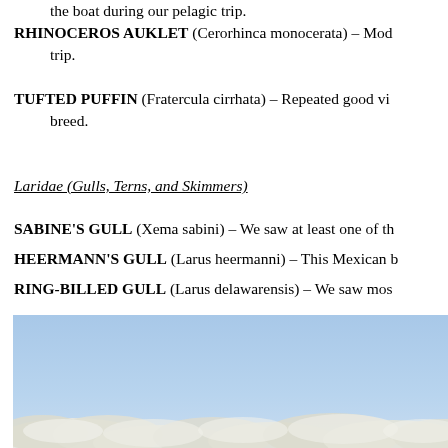the boat during our pelagic trip.
RHINOCEROS AUKLET (Cerorhinca monocerata) – Mod... trip.
TUFTED PUFFIN (Fratercula cirrhata) – Repeated good vi... breed.
Laridae (Gulls, Terns, and Skimmers)
SABINE'S GULL (Xema sabini) – We saw at least one of th...
HEERMANN'S GULL (Larus heermanni) – This Mexican b...
RING-BILLED GULL (Larus delawarensis) – We saw mos...
[Figure (photo): Sky photo with clouds at the bottom, light blue sky filling most of the frame.]